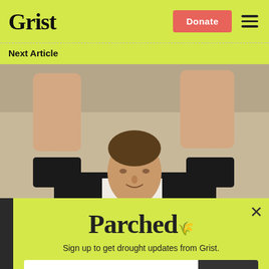Grist
Next Article
[Figure (photo): A man in a dark suit with both hands raised, photographed from a low angle against a light beige/gray background.]
Parched
Sign up to get drought updates from Grist.
Enter your email
SIGN UP
No thanks